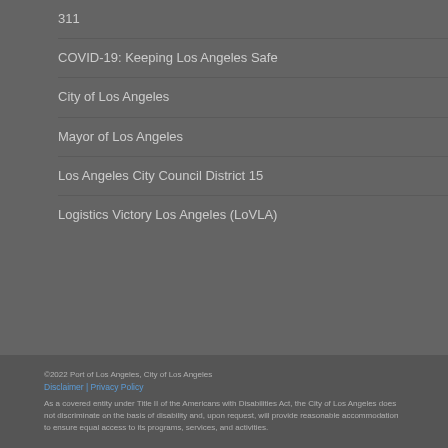311
COVID-19: Keeping Los Angeles Safe
City of Los Angeles
Mayor of Los Angeles
Los Angeles City Council District 15
Logistics Victory Los Angeles (LoVLA)
©2022 Port of Los Angeles, City of Los Angeles
Disclaimer | Privacy Policy
As a covered entity under Title II of the Americans with Disabilities Act, the City of Los Angeles does not discriminate on the basis of disability and, upon request, will provide reasonable accommodation to ensure equal access to its programs, services, and activities.